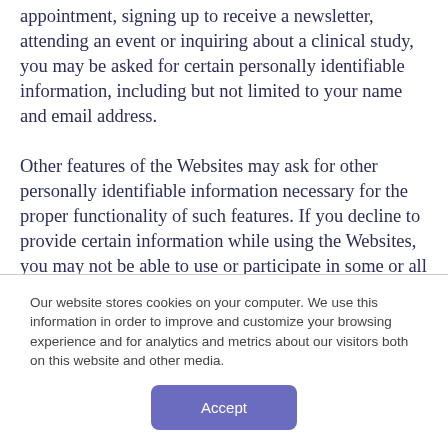appointment, signing up to receive a newsletter, attending an event or inquiring about a clinical study, you may be asked for certain personally identifiable information, including but not limited to your name and email address.
Other features of the Websites may ask for other personally identifiable information necessary for the proper functionality of such features. If you decline to provide certain information while using the Websites, you may not be able to use or participate in some or all of the features offered through the Websites. We
Our website stores cookies on your computer. We use this information in order to improve and customize your browsing experience and for analytics and metrics about our visitors both on this website and other media.
Accept